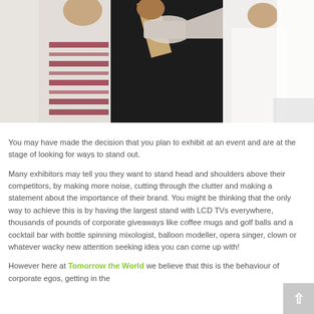[Figure (photo): A person in a black top holding a megaphone/loudhailer up, with other people visible beside them, on a light background.]
You may have made the decision that you plan to exhibit at an event and are at the stage of looking for ways to stand out.
Many exhibitors may tell you they want to stand head and shoulders above their competitors, by making more noise, cutting through the clutter and making a statement about the importance of their brand. You might be thinking that the only way to achieve this is by having the largest stand with LCD TVs everywhere, thousands of pounds of corporate giveaways like coffee mugs and golf balls and a cocktail bar with bottle spinning mixologist, balloon modeller, opera singer, clown or whatever wacky new attention seeking idea you can come up with!
However here at Tomorrow the World we believe that this is the behaviour of corporate egos, getting in the